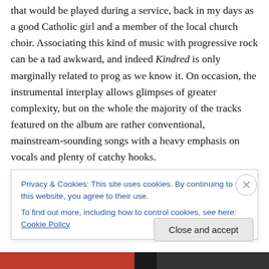that would be played during a service, back in my days as a good Catholic girl and a member of the local church choir. Associating this kind of music with progressive rock can be a tad awkward, and indeed Kindred is only marginally related to prog as we know it. On occasion, the instrumental interplay allows glimpses of greater complexity, but on the whole the majority of the tracks featured on the album are rather conventional, mainstream-sounding songs with a heavy emphasis on vocals and plenty of catchy hooks.
In any case, the members of Farpoint show excellent
Privacy & Cookies: This site uses cookies. By continuing to use this website, you agree to their use.
To find out more, including how to control cookies, see here: Cookie Policy